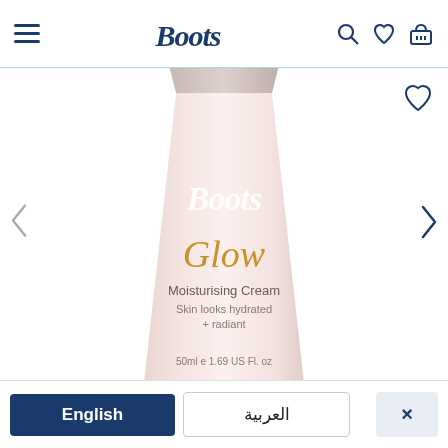[Figure (screenshot): Boots pharmacy website header with hamburger menu icon on left, Boots logo in center (dark navy cursive script), and search, heart, and shopping basket icons on right]
[Figure (photo): Boots Glow Moisturising Cream product tube. Light pink/blush colored squeeze tube with white Boots cursive logo, gold 'Glow' script text, and 'Moisturising Cream / Skin looks hydrated + radiant / 50ml e 1.69 US Fl. oz' printed on it. Navigation arrows on left and right, heart icon top right.]
English
العربية
×